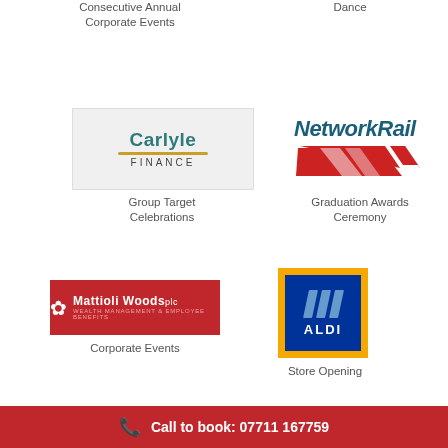Consecutive Annual Corporate Events
Dance
[Figure (logo): Carlyle Finance logo — teal serif text 'Carlyle' with 'FINANCE' in small caps and a brown swoosh underline, on a light grey background]
Group Target Celebrations
[Figure (logo): Network Rail logo — bold italic dark teal text 'NetworkRail' with red and white diagonal stripe chevron below]
Graduation Awards Ceremony
[Figure (logo): Mattioli Woods plc logo — white text and snowflake emblem on a red background, with subtitle 'WEALTH MANAGEMENT & EMPLOYEE BENEFITS']
Corporate Events
[Figure (logo): ALDI logo — blue square with three diagonal white/light-blue stripes and 'ALDI' text in white, surrounded by an orange/yellow border]
Store Opening
Call to book: 07711 167759